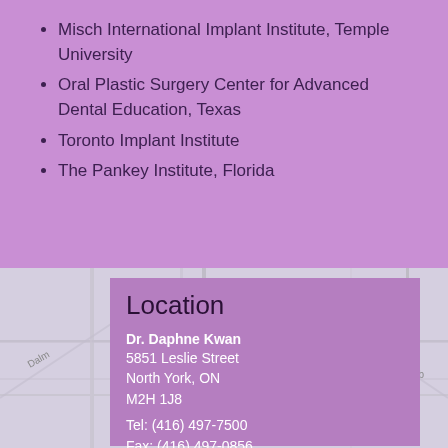Misch International Implant Institute, Temple University
Oral Plastic Surgery Center for Advanced Dental Education, Texas
Toronto Implant Institute
The Pankey Institute, Florida
[Figure (map): Street map showing location near Leslie Street, North York, ON with road labels Dalm and Huckleb visible]
Location
Dr. Daphne Kwan
5851 Leslie Street
North York, ON
M2H 1J8

Tel: (416) 497-7500
Fax: (416) 497-0856